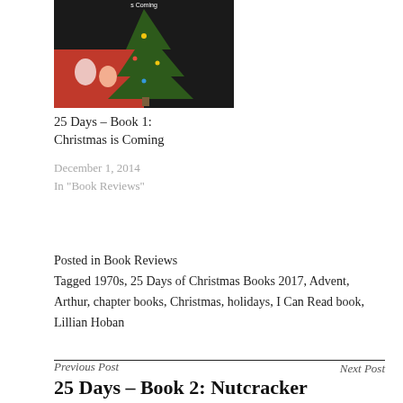[Figure (photo): Partial book cover of '25 Days – Book 1: Christmas is Coming' showing a Christmas tree and children on a dark background]
25 Days – Book 1: Christmas is Coming
December 1, 2014
In "Book Reviews"
Posted in Book Reviews
Tagged 1970s, 25 Days of Christmas Books 2017, Advent, Arthur, chapter books, Christmas, holidays, I Can Read book, Lillian Hoban
Previous Post
25 Days – Book 2: Nutcracker
Next Post